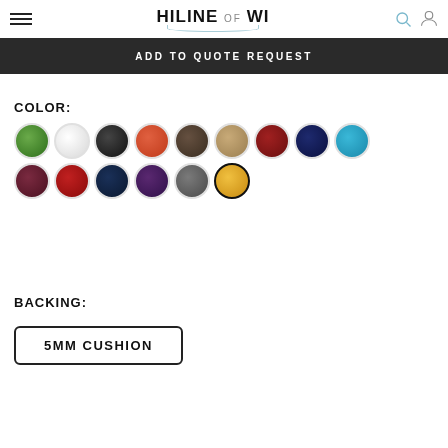HILINE OF WI
ADD TO QUOTE REQUEST
COLOR:
[Figure (infographic): 15 color swatches arranged in two rows: Row 1 - green, white, black, orange-red, dark olive, tan/khaki, dark red, navy, cyan/teal; Row 2 - dark maroon, red, dark navy, purple, gray, yellow/gold (selected/highlighted)]
BACKING:
5MM CUSHION